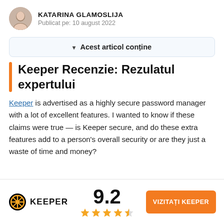KATARINA GLAMOSLIJA
Publicat pe: 10 august 2022
Acest articol conține
Keeper Recenzie: Rezulatul expertului
Keeper is advertised as a highly secure password manager with a lot of excellent features. I wanted to know if these claims were true — is Keeper secure, and do these extra features add to a person's overall security or are they just a waste of time and money?
[Figure (logo): Keeper logo with score 9.2 and 4.5 star rating, plus VIZITAȚI KEEPER button]